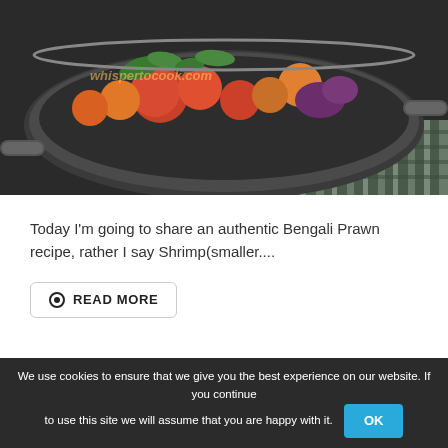[Figure (photo): A dark metal wok/pan containing colorful vegetables and food items including tomatoes, green herbs, and other ingredients, placed on a striped cloth on a dark surface. A watermark text is partially visible on the image.]
Today I'm going to share an authentic Bengali Prawn recipe, rather I say Shrimp(smaller....
READ MORE
We use cookies to ensure that we give you the best experience on our website. If you continue to use this site we will assume that you are happy with it.  OK